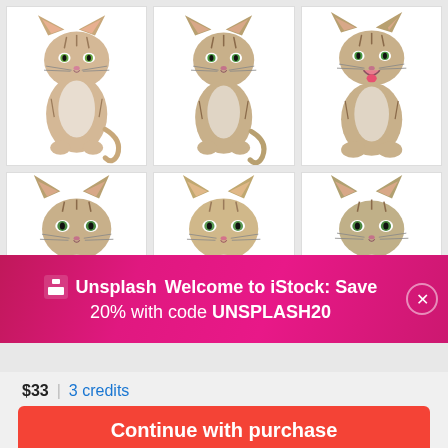[Figure (photo): Grid of 6 kitten photos on white background, arranged in 2 rows of 3]
Unsplash Welcome to iStock: Save 20% with code UNSPLASH20
$33 | 3 credits
Continue with purchase